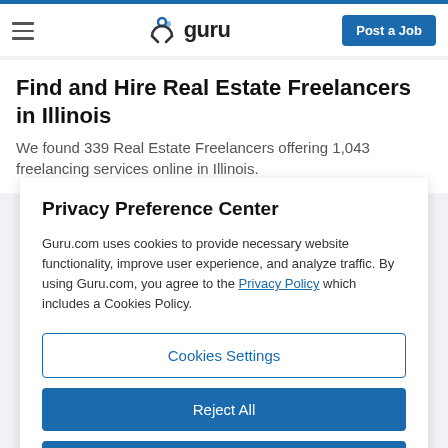guru — Post a Job
Find and Hire Real Estate Freelancers in Illinois
We found 339 Real Estate Freelancers offering 1,043 freelancing services online in Illinois.
Privacy Preference Center
Guru.com uses cookies to provide necessary website functionality, improve user experience, and analyze traffic. By using Guru.com, you agree to the Privacy Policy which includes a Cookies Policy.
Cookies Settings
Reject All